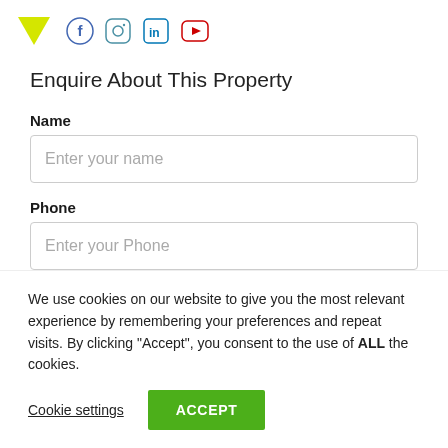[Figure (logo): Yellow downward-pointing triangle logo with social media icons (Facebook, Instagram, LinkedIn, YouTube)]
Enquire About This Property
Name
Enter your name
Phone
Enter your Phone
We use cookies on our website to give you the most relevant experience by remembering your preferences and repeat visits. By clicking “Accept”, you consent to the use of ALL the cookies.
Cookie settings
ACCEPT